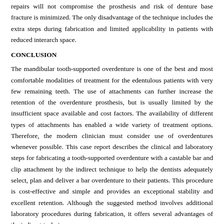repairs will not compromise the prosthesis and risk of denture base fracture is minimized. The only disadvantage of the technique includes the extra steps during fabrication and limited applicability in patients with reduced interarch space.
CONCLUSION
The mandibular tooth-supported overdenture is one of the best and most comfortable modalities of treatment for the edentulous patients with very few remaining teeth. The use of attachments can further increase the retention of the overdenture prosthesis, but is usually limited by the insufficient space available and cost factors. The availability of different types of attachments has enabled a wide variety of treatment options. Therefore, the modern clinician must consider use of overdentures whenever possible. This case report describes the clinical and laboratory steps for fabricating a tooth-supported overdenture with a castable bar and clip attachment by the indirect technique to help the dentists adequately select, plan and deliver a bar overdenture to their patients. This procedure is cost-effective and simple and provides an exceptional stability and excellent retention. Although the suggested method involves additional laboratory procedures during fabrication, it offers several advantages of the indirect techniques.
References